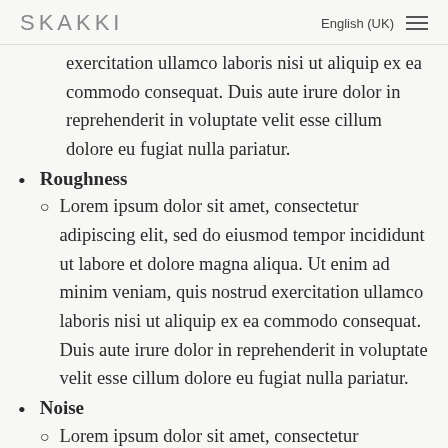SKAKKI   English (UK)
exercitation ullamco laboris nisi ut aliquip ex ea commodo consequat. Duis aute irure dolor in reprehenderit in voluptate velit esse cillum dolore eu fugiat nulla pariatur.
Roughness
Lorem ipsum dolor sit amet, consectetur adipiscing elit, sed do eiusmod tempor incididunt ut labore et dolore magna aliqua. Ut enim ad minim veniam, quis nostrud exercitation ullamco laboris nisi ut aliquip ex ea commodo consequat. Duis aute irure dolor in reprehenderit in voluptate velit esse cillum dolore eu fugiat nulla pariatur.
Noise
Lorem ipsum dolor sit amet, consectetur adipiscing elit, sed do eiusmod tempor